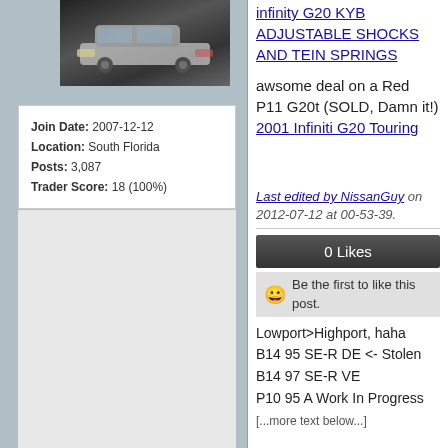[Figure (photo): Photo of a silver/white car, dark background, taken at night or in dim lighting]
| Join Date: | 2007-12-12 |
| Location: | South Florida |
| Posts: | 3,087 |
| Trader Score: | 18 (100%) |
infinity G20 KYB ADJUSTABLE SHOCKS AND TEIN SPRINGS
awsome deal on a Red P11 G20t (SOLD, Damn it!) 2001 Infiniti G20 Touring
Last edited by NissanGuy on 2012-07-12 at 00-53-39.
0 Likes
Be the first to like this post.
Lowport>Highport, haha
B14 95 SE-R DE <- Stolen
B14 97 SE-R VE
P10 95 A Work In Progress